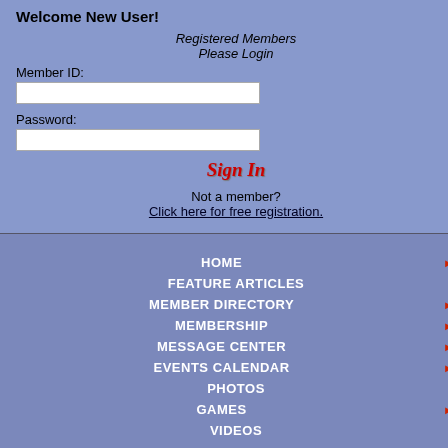Welcome New User!
Registered Members Please Login
Member ID:
Password:
Sign In
Not a member?
Click here for free registration.
HOME
FEATURE ARTICLES
MEMBER DIRECTORY
MEMBERSHIP
MESSAGE CENTER
EVENTS CALENDAR
PHOTOS
GAMES
VIDEOS
What's New @ DCGreeks.com
[Figure (screenshot): Black and white photo of Washington DC skyline featuring the Washington Monument and Capitol building]
DCGr
Upcoming
| Sat | Sun | Mon | Tu... |
| --- | --- | --- | --- |
| 27 | 28 | 29 | 30 |
Member ID:   stephanos
Hi, my name is stephanos and I'm a 42 ... DC.
My Occupation: Not Specified.